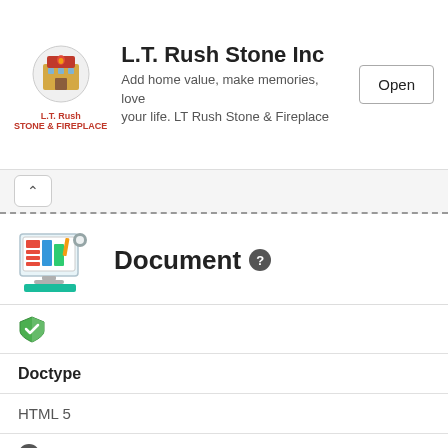[Figure (infographic): Advertisement banner for L.T. Rush Stone Inc with logo, text 'Add home value, make memories, love your life. LT Rush Stone & Fireplace', and Open button]
L.T. Rush Stone Inc
Add home value, make memories, love your life. LT Rush Stone & Fireplace
Document
[Figure (illustration): Green shield with checkmark icon]
Doctype
HTML 5
[Figure (illustration): Question mark circle icon]
Yoursite.com/Robots.txt